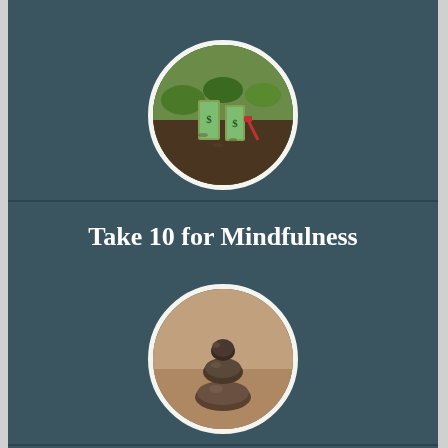[Figure (photo): Circular photo showing dollar bills planted in soil like plants, with a small gardening tool, representing financial growth or money mindfulness.]
Take 10 for Mindfulness
[Figure (photo): Circular photo showing stacked smooth stones balanced on top of each other, representing balance and strength training mindfulness.]
5 Strength-Training Mistakes to Avoid